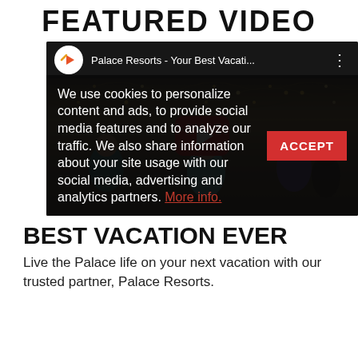FEATURED VIDEO
[Figure (screenshot): YouTube video thumbnail for 'Palace Resorts - Your Best Vacati...' showing people socializing under string lights, with a red play button and a cookie consent overlay reading: 'We use cookies to personalize content and ads, to provide social media features and to analyze our traffic. We also share information about your site usage with our social media, advertising and analytics partners. More info.' with an ACCEPT button.]
BEST VACATION EVER
Live the Palace life on your next vacation with our trusted partner, Palace Resorts.